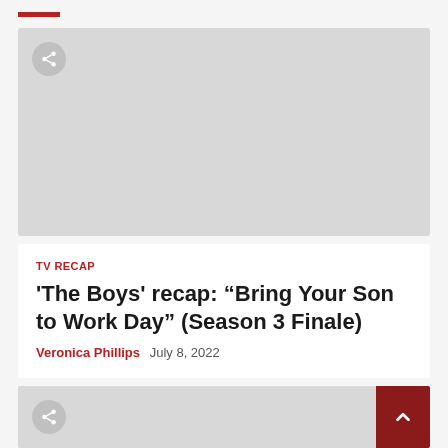[Figure (screenshot): Gray placeholder image card with a circular share button in the top-left corner]
TV RECAP
'The Boys' recap: “Bring Your Son to Work Day” (Season 3 Finale)
Veronica Phillips  July 8, 2022
[Figure (screenshot): Gray placeholder image card with a circular share button in the top-left and a dark red back-to-top arrow button in the top-right]